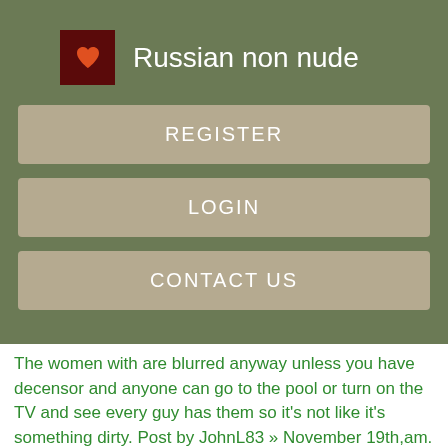Russian non nude
REGISTER
LOGIN
CONTACT US
The women with are blurred anyway unless you have decensor and anyone can go to the pool or turn on the TV and see every guy has them so it's not like it's something dirty. Post by JohnL83 » November 19th,am. I've been over to the TSR website downloading a few new hairstyles and a few clothes and I noticed many of the sims in the pictures the men at least have nipples.
I have a lot of none default skins in my game for slightly different body opinions if it won't default skins please can someone tell me